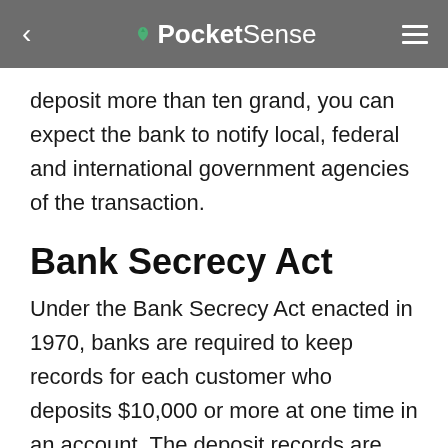PocketSense
deposit more than ten grand, you can expect the bank to notify local, federal and international government agencies of the transaction.
Bank Secrecy Act
Under the Bank Secrecy Act enacted in 1970, banks are required to keep records for each customer who deposits $10,000 or more at one time in an account. The deposit records are sent to local, federal and international law enforcement agencies that use this